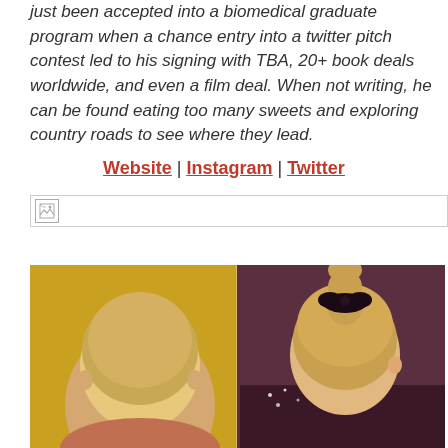just been accepted into a biomedical graduate program when a chance entry into a twitter pitch contest led to his signing with TBA, 20+ book deals worldwide, and even a film deal. When not writing, he can be found eating too many sweets and exploring country roads to see where they lead.
Website | Instagram | Twitter
[Figure (photo): Broken image placeholder bar at top, followed by a photo showing two people from behind/partial view: on the left a young child with light hair against a yellow background, on the right a person with a high ponytail with black bow/accessory, wearing a dark outfit.]